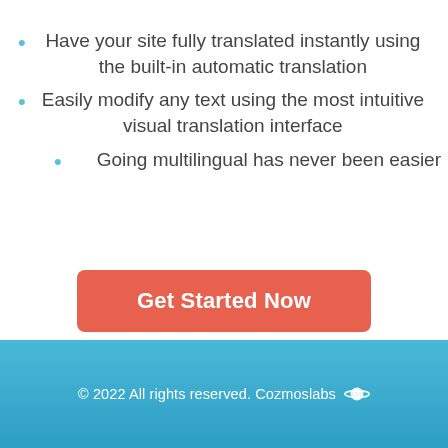Have your site fully translated instantly using the built-in automatic translation
Easily modify any text using the most intuitive visual translation interface
Going multilingual has never been easier
Get Started Now
© 2022 All rights reserved. Cozmoslabs